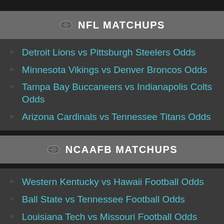NFL MATCHUPS
Detroit Lions vs Pittsburgh Steelers Odds
Minnesota Vikings vs Denver Broncos Odds
Tampa Bay Buccaneers vs Indianapolis Colts Odds
Arizona Cardinals vs Tennessee Titans Odds
NCAAFB MATCHUPS
Western Kentucky vs Hawaii Football Odds
Ball State vs Tennessee Football Odds
Louisiana Tech vs Missouri Football Odds